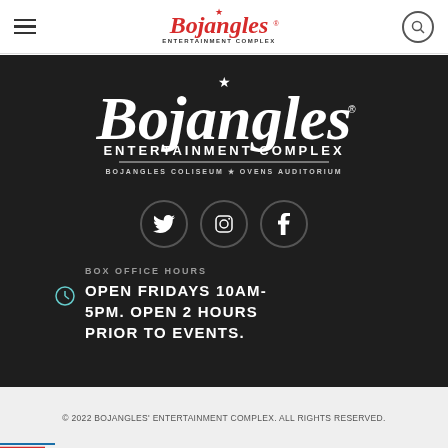[Figure (logo): Bojangles Entertainment Complex logo in header - red italic script with star, 'ENTERTAINMENT COMPLEX' in small caps below]
[Figure (logo): Large white Bojangles Entertainment Complex logo on dark background with star, 'ENTERTAINMENT COMPLEX' subtitle, 'BOJANGLES COLISEUM ★ OVENS AUDITORIUM' tagline]
[Figure (infographic): Three social media icons (Twitter, Instagram, Facebook) in dark circular outlines on dark background]
BOX OFFICE HOURS OPEN FRIDAYS 10AM-5PM. OPEN 2 HOURS PRIOR TO EVENTS.
© 2022 BOJANGLES' ENTERTAINMENT COMPLEX. ALL RIGHTS RESERVED.